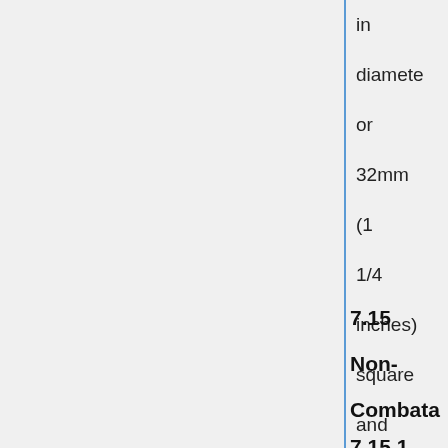in diameter or 32mm (1 1/4 inches) square and be well attached
7.15 Non-Combatant Armour Requirements
7.15.1